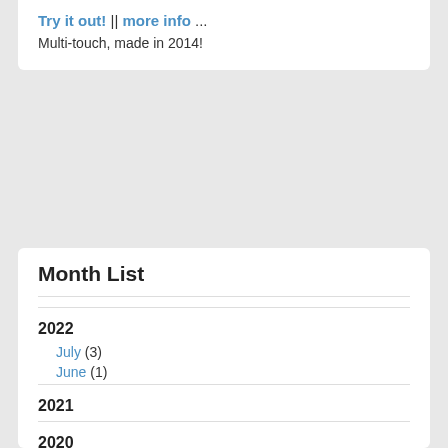Try it out! || more info ... Multi-touch, made in 2014!
Month List
2022
July (3)
June (1)
2021
2020
2019
2018
2017